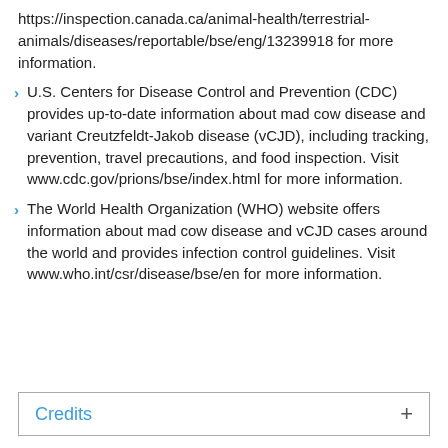https://inspection.canada.ca/animal-health/terrestrial-animals/diseases/reportable/bse/eng/13239918 for more information.
U.S. Centers for Disease Control and Prevention (CDC) provides up-to-date information about mad cow disease and variant Creutzfeldt-Jakob disease (vCJD), including tracking, prevention, travel precautions, and food inspection. Visit www.cdc.gov/prions/bse/index.html for more information.
The World Health Organization (WHO) website offers information about mad cow disease and vCJD cases around the world and provides infection control guidelines. Visit www.who.int/csr/disease/bse/en for more information.
Credits